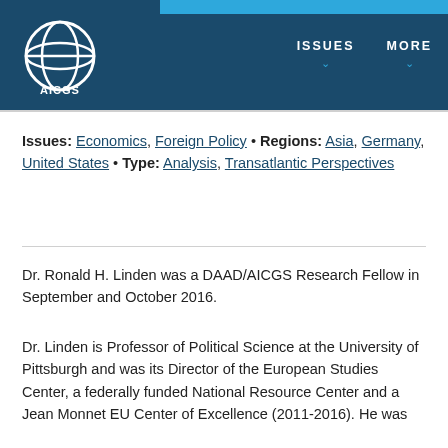[Figure (logo): AICGS globe logo in white on dark blue background]
ISSUES   MORE
Issues: Economics, Foreign Policy • Regions: Asia, Germany, United States • Type: Analysis, Transatlantic Perspectives
Dr. Ronald H. Linden was a DAAD/AICGS Research Fellow in September and October 2016.
Dr. Linden is Professor of Political Science at the University of Pittsburgh and was its Director of the European Studies Center, a federally funded National Resource Center and a Jean Monnet EU Center of Excellence (2011-2016). He was